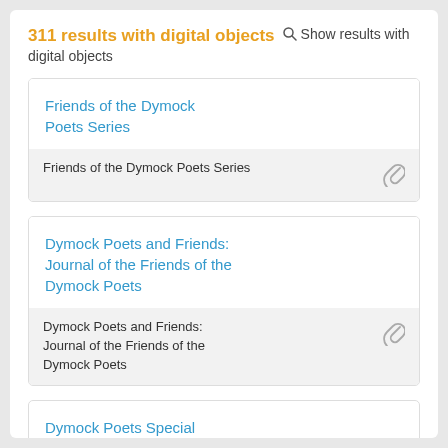311 results with digital objects  🔍 Show results with digital objects
Friends of the Dymock Poets Series / Friends of the Dymock Poets Series
Dymock Poets and Friends: Journal of the Friends of the Dymock Poets / Dymock Poets and Friends: Journal of the Friends of the Dymock Poets
Dymock Poets Special